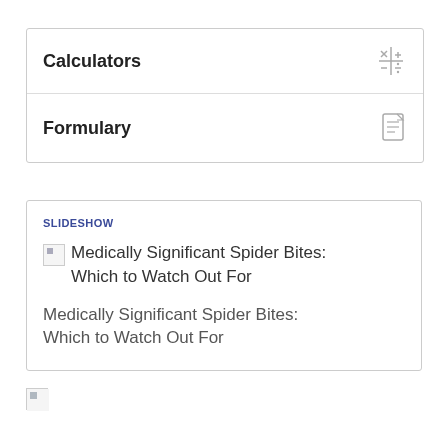Calculators
Formulary
SLIDESHOW
Medically Significant Spider Bites: Which to Watch Out For
Medically Significant Spider Bites: Which to Watch Out For
[Figure (illustration): Broken image placeholder icon at bottom left]